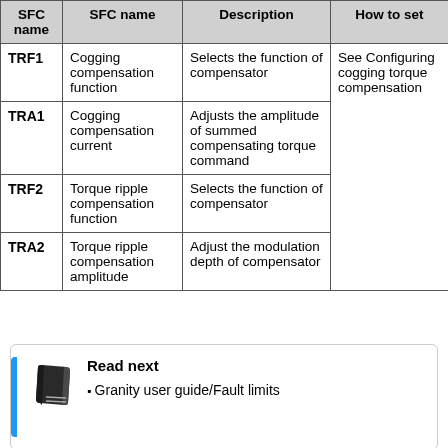| SFC name | SFC name | Description | How to set |
| --- | --- | --- | --- |
| TRF1 | Cogging compensation function | Selects the function of compensator | See Configuring cogging torque compensation |
| TRA1 | Cogging compensation current | Adjusts the amplitude of summed compensating torque command |  |
| TRF2 | Torque ripple compensation function | Selects the function of compensator |  |
| TRA2 | Torque ripple compensation amplitude | Adjust the modulation depth of compensator |  |
Read next
Granity user guide/Fault limits